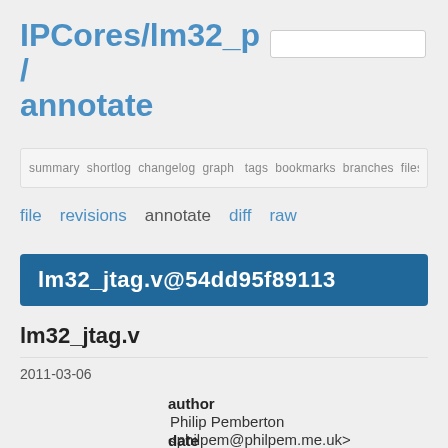IPCores/lm32_p/ annotate
summary shortlog changelog graph tags bookmarks branches files preview he
file   revisions   annotate   diff   raw
lm32_jtag.v@54dd95f89113
lm32_jtag.v
2011-03-06
author
Philip Pemberton <philpem@philpem.me.uk>
date
Sun, 06 Mar 2011 19:31:09 +0000